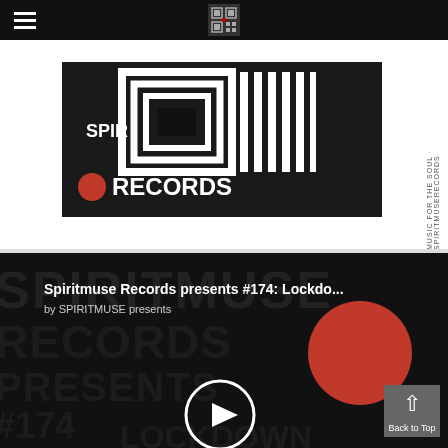[Figure (logo): Spiritmuse Records logo banner — black and white geometric pattern with 'SPIR' text and 'RECORDS' below with a red circle bullet point]
[Figure (screenshot): Podcast/music player embed showing 'Spiritmuse Records presents #174: Lockdo...' by SPIRITMUSE presents, with a dark background showing 'SPIRITMUSE RECORDS PRESENTS #174 LOCKDOWN' text art, a play button circle, a red circle, and a back-to-top arrow button]